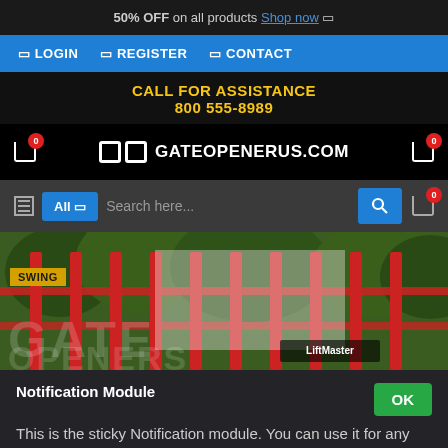50% OFF on all products Shop now
LOGIN  REGISTER  CONTACT
CALL FOR ASSISTANCE
800 555-8989
[Figure (logo): Gate Openers US logo with stylized gate icon and text GATEOPENERUS.COM]
[Figure (screenshot): Search bar with All dropdown and search field]
[Figure (photo): Photo of a red metal gate being opened, with trees in background. SWING badge overlay and GATE OPENERS text watermark.]
Notification Module
This is the sticky Notification module. You can use it for any sticky messages such as cookie notices or special promotions, etc.